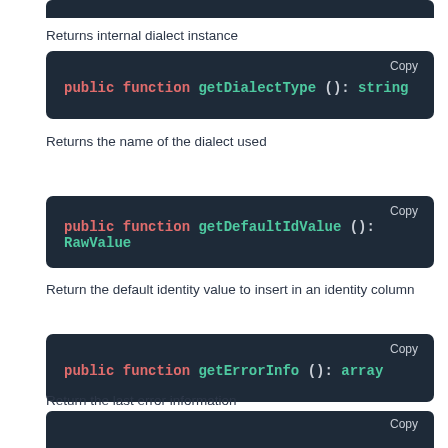Returns internal dialect instance
[Figure (screenshot): Code block: public function getDialectType(): string]
Returns the name of the dialect used
[Figure (screenshot): Code block: public function getDefaultIdValue(): RawValue]
Return the default identity value to insert in an identity column
[Figure (screenshot): Code block: public function getErrorInfo(): array]
Return the last error information
[Figure (screenshot): Code block: partial view at bottom of page]